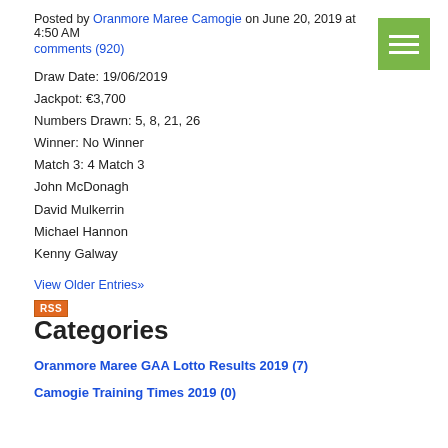Posted by Oranmore Maree Camogie on June 20, 2019 at 4:50 AM
comments (920)
Draw Date: 19/06/2019
Jackpot: €3,700
Numbers Drawn: 5, 8, 21, 26
Winner: No Winner
Match 3: 4 Match 3
John McDonagh
David Mulkerrin
Michael Hannon
Kenny Galway
View Older Entries»
[Figure (other): RSS feed icon button]
Categories
Oranmore Maree GAA Lotto Results 2019 (7)
Camogie Training Times 2019 (0)